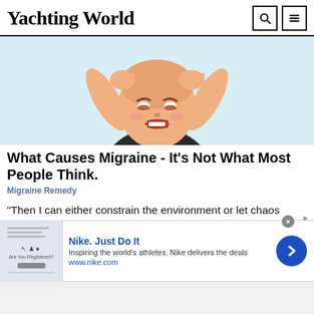Yachting World
[Figure (illustration): Cartoon illustration of a person grimacing with hands pressed against their head, suggesting a headache or migraine. Light blue background.]
What Causes Migraine - It's Not What Most People Think.
Migraine Remedy
“Then I can either constrain the environment or let chaos ensue!” he explains. Coaching within the game allows sailors to focus solely on strategy and tactics without the
[Figure (screenshot): Advertisement banner for Nike. Shows a thumbnail image on the left, Nike logo text 'Nike. Just Do It', description 'Inspiring the world's athletes, Nike delivers the deals', URL 'www.nike.com', and a blue circular arrow button on the right.]